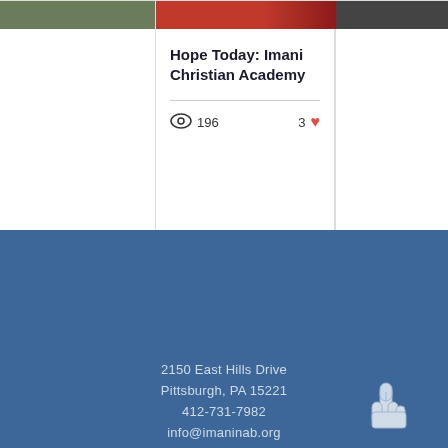Hope Today: Imani Christian Academy
196 views · 3 likes
2150 East Hills Drive
Pittsburgh, PA 15221
412-731-7982
info@imaninab.org